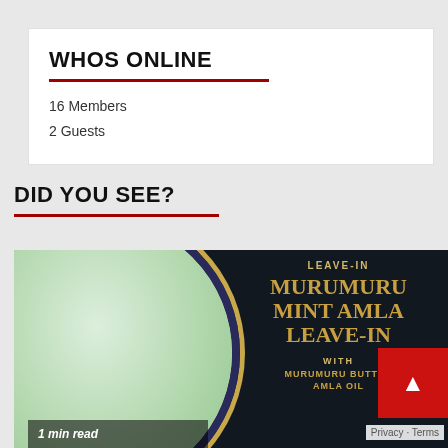WHOS ONLINE
16 Members
2 Guests
DID YOU SEE?
[Figure (photo): Product photo: Murumuru Mint Amla Leave-In conditioner. Left side shows an open jar of green-white cream with a blue lid and gold circular border. Right side shows dark navy background with gold text reading 'LEAVE-IN', 'MURUMURU', 'MINT AMLA', 'LEAVE-IN', 'WITH', 'MURUMURU BUTTER', 'AMLA OIL'.]
1 min read